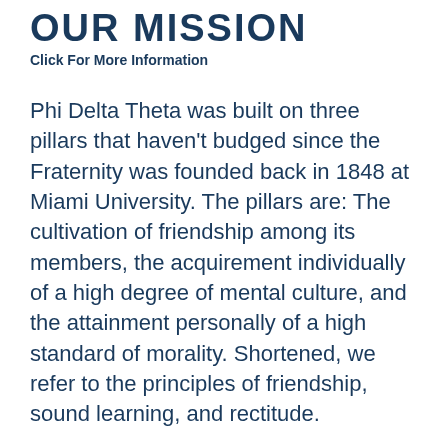OUR MISSION
Click For More Information
Phi Delta Theta was built on three pillars that haven't budged since the Fraternity was founded back in 1848 at Miami University. The pillars are: The cultivation of friendship among its members, the acquirement individually of a high degree of mental culture, and the attainment personally of a high standard of morality. Shortened, we refer to the principles of friendship, sound learning, and rectitude.
Helping every individual to meet his true potential is the bedrock of the Phi Delta Theta Fraternity. By celebrating each person's true self, and by learning from each other's